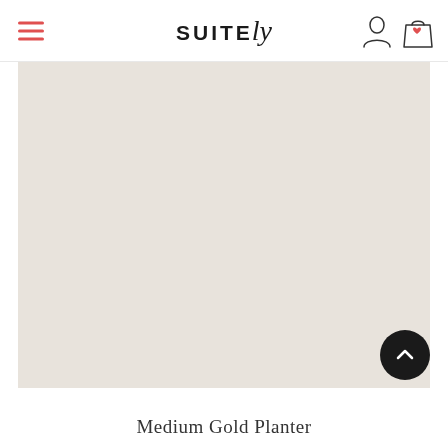SUITELY — navigation header with hamburger menu, logo, user icon, and shopping bag icon
[Figure (photo): Product image placeholder — large beige/off-white rectangular area serving as product image for Medium Gold Planter]
Medium Gold Planter